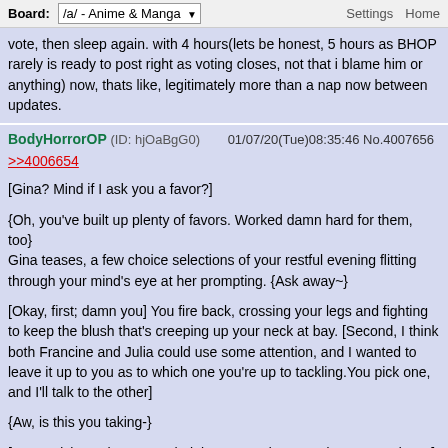Board: /a/ - Anime & Manga   Settings  Home
vote, then sleep again. with 4 hours(lets be honest, 5 hours as BHOP rarely is ready to post right as voting closes, not that i blame him or anything) now, thats like, legitimately more than a nap now between updates.
BodyHorrorOP (ID: hjOaBgG0)   01/07/20(Tue)08:35:46 No.4007656
>>4006654
[Gina? Mind if I ask you a favor?]
{Oh, you've built up plenty of favors. Worked damn hard for them, too}
Gina teases, a few choice selections of your restful evening flitting through your mind's eye at her prompting. {Ask away~}
[Okay, first; damn you] You fire back, crossing your legs and fighting to keep the blush that's creeping up your neck at bay. [Second, I think both Francine and Julia could use some attention, and I wanted to leave it up to you as to which one you're up to tackling.You pick one, and I'll talk to the other]
{Aw, is this you taking-}
[-your advice to heart? Yeah, it is. No need to sound so amazed, GG] You counter, cocking an eyebrow at her from where you